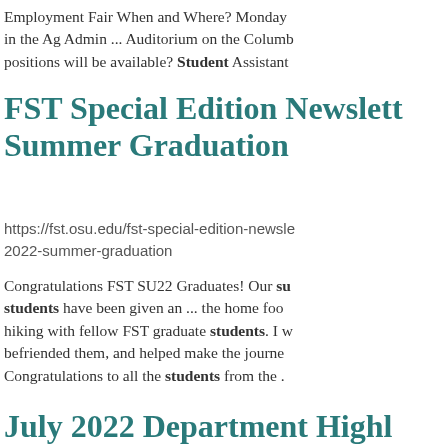Employment Fair When and Where? Monday ... in the Ag Admin ... Auditorium on the Columb... positions will be available? Student Assistant...
FST Special Edition Newsletter Summer Graduation
https://fst.osu.edu/fst-special-edition-newsle... 2022-summer-graduation
Congratulations FST SU22 Graduates! Our su... students have been given an ... the home foo... hiking with fellow FST graduate students. I w... befriended them, and helped make the journe... Congratulations to all the students from the ...
July 2022 Department Highl...